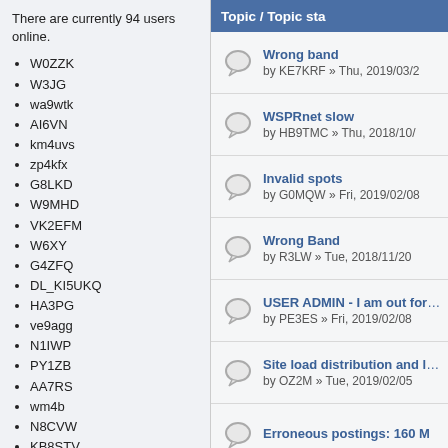There are currently 94 users online.
W0ZZK
W3JG
wa9wtk
AI6VN
km4uvs
zp4kfx
G8LKD
W9MHD
VK2EFM
W6XY
G4ZFQ
DL_KI5UKQ
HA3PG
ve9agg
N1IWP
PY1ZB
AA7RS
wm4b
N8CVW
KB8STV
DG7CF
KG2MD
G4PCI
VK2KRR
Topic / Topic sta
Wrong band
by KE7KRF » Thu, 2019/03/2
WSPRnet slow
by HB9TMC » Thu, 2018/10/
Invalid spots
by G0MQW » Fri, 2019/02/08
Wrong Band
by R3LW » Tue, 2018/11/20
USER ADMIN - I am out for a today
by PE3ES » Fri, 2019/02/08
Site load distribution and limi
by OZ2M » Tue, 2019/02/05
Erroneous postings: 160 M